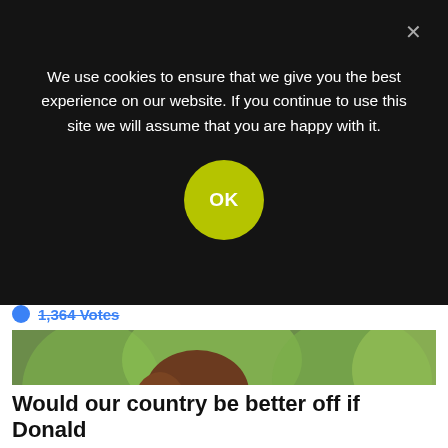We use cookies to ensure that we give you the best experience on our website. If you continue to use this site we will assume that you are happy with it.
OK
1,364 Votes
[Figure (photo): Photo of a woman leaning toward a man, both appearing to be politicians, with green trees in background. Appears to depict Nancy Pelosi and Donald Trump.]
Would our country be better off if Donald Trump came back to the White House in 2024?